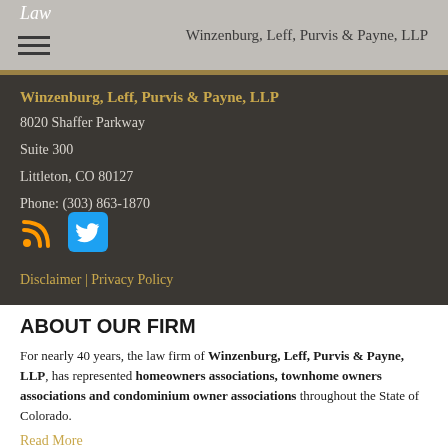Law | Winzenburg, Leff, Purvis & Payne, LLP
Winzenburg, Leff, Purvis & Payne, LLP
8020 Shaffer Parkway
Suite 300
Littleton, CO 80127
Phone: (303) 863-1870
[Figure (illustration): RSS feed icon (orange) and Twitter bird icon (blue rounded square)]
Disclaimer | Privacy Policy
ABOUT OUR FIRM
For nearly 40 years, the law firm of Winzenburg, Leff, Purvis & Payne, LLP, has represented homeowners associations, townhome owners associations and condominium owner associations throughout the State of Colorado.
Read More